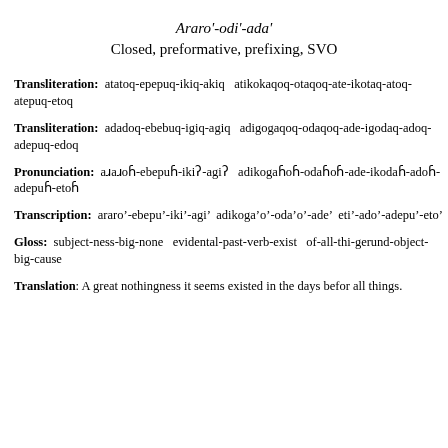Araro'-odi'-ada'
Closed, preformative, prefixing, SVO
Transliteration: atatoq-epepuq-ikiq-akiq atikokaqoq-otaqoq-ate-ikotaq-atoq-atepuq-etoq
Transliteration: adadoq-ebebuq-igiq-agiq adigogaqoq-odaqoq-ade-igodaq-adoq-adepuq-edoq
Pronunciation: aɾaɾoɦ-ebepuɦ-ikiʔ-agiʔ adikogaɦoɦ-odaɦoɦ-ade-ikodaɦ-adoɦ-adepuɦ-etoɦ
Transcription: araro'-ebepu'-iki'-agi' adikoga'o'-oda'o'-ade' eti'-ado'-adepu'-eto'
Gloss: subject-ness-big-none evidental-past-verb-exist of-all-thi-gerund-object-big-cause
Translation: A great nothingness it seems existed in the days befor all things.